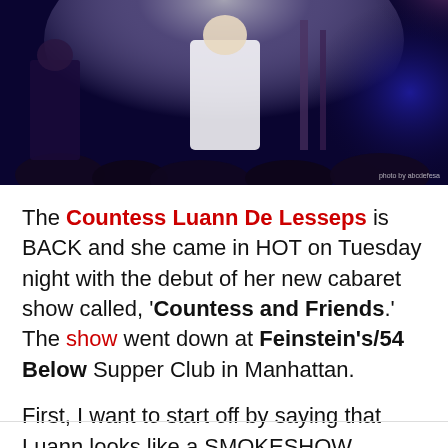[Figure (photo): Concert/cabaret performance photo showing a performer in a white outfit on stage with blue and purple stage lighting, audience visible in foreground, musical equipment in background. Photo credit text visible in lower right.]
The Countess Luann De Lesseps is BACK and she came in HOT on Tuesday night with the debut of her new cabaret show called, 'Countess and Friends.' The show went down at Feinstein's/54 Below Supper Club in Manhattan.
First, I want to start off by saying that Luann looks like a SMOKESHOW. Get.It.Girl.